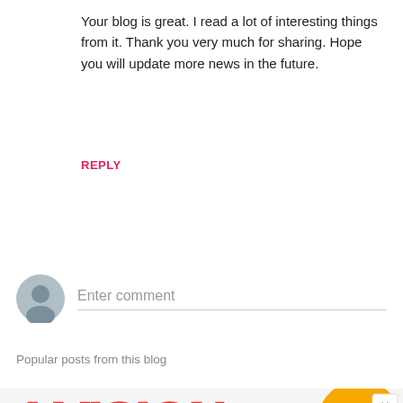Your blog is great. I read a lot of interesting things from it. Thank you very much for sharing. Hope you will update more news in the future.
REPLY
Enter comment
Popular posts from this blog
[Figure (other): Partial advertisement banner showing stylized text '4 VISION' in orange/yellow with red outline, partially visible orange graphic element, and a close (x) button in top right corner]